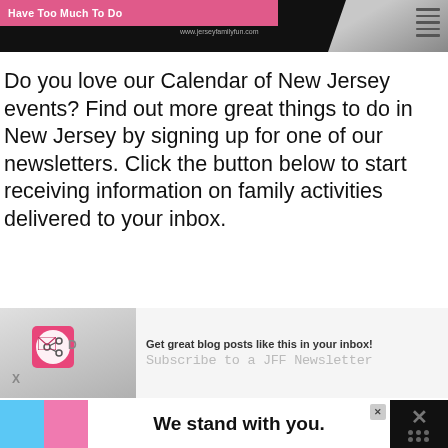[Figure (screenshot): Top banner with pink strip reading 'Have Too Much To Do', black background, notebook image on right, URL text 'www.jerseyfamilyfun.com']
Do you love our Calendar of New Jersey events? Find out more great things to do in New Jersey by signing up for one of our newsletters. Click the button below to start receiving information on family activities delivered to your inbox.
[Figure (infographic): Newsletter signup banner showing keyboard with pink key and share icon on left, text 'Get great blog posts like this in your inbox! Subscribe to a JFF Newsletter' on right]
[Figure (infographic): What's Next section showing 'Sea Isle City Concerts at...' with thumbnail image]
[Figure (infographic): Bottom advertisement banner with blue and pink color strips, bold text 'We stand with you.', close button X, and decorative X with dots on right]